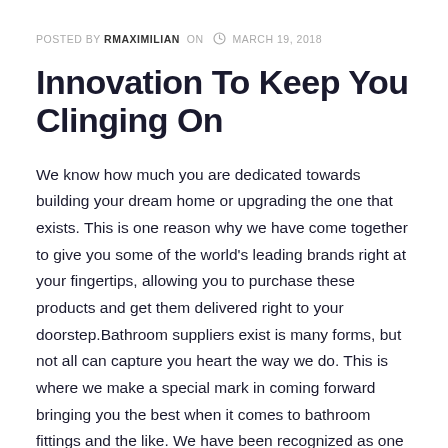POSTED BY RMAXIMILIAN  ON  MARCH 19, 2018
Innovation To Keep You Clinging On
We know how much you are dedicated towards building your dream home or upgrading the one that exists. This is one reason why we have come together to give you some of the world's leading brands right at your fingertips, allowing you to purchase these products and get them delivered right to your doorstep.Bathroom suppliers exist is many forms, but not all can capture you heart the way we do. This is where we make a special mark in coming forward bringing you the best when it comes to bathroom fittings and the like. We have been recognized as one of the leasing in the industry in the Australian continent.Our collection of the latest designs can be found in our showrooms which is available for...